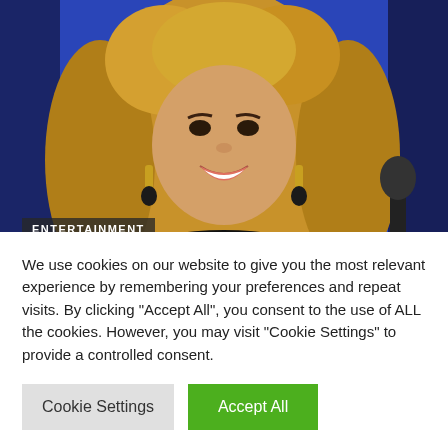[Figure (photo): Photo of a woman with long curly blonde hair wearing gold drop earrings, smiling, against a blue background. An 'ENTERTAINMENT' label overlay is on the lower left of the image.]
Beyoncé broadcasts new album 'Renaissance' to drop July 29
We use cookies on our website to give you the most relevant experience by remembering your preferences and repeat visits. By clicking "Accept All", you consent to the use of ALL the cookies. However, you may visit "Cookie Settings" to provide a controlled consent.